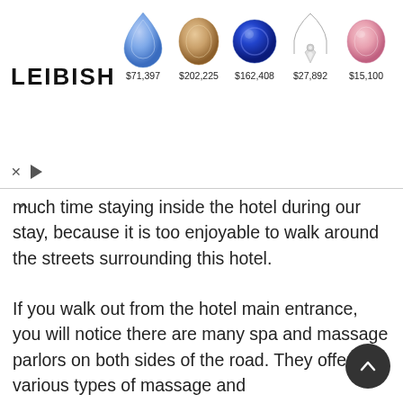[Figure (advertisement): Leibish jewelry/gemstone advertisement banner showing 5 gemstones (blue teardrop, brown oval, blue round, diamond necklace, pink oval) with prices $71,397, $202,225, $162,408, $27,892, $15,100]
much time staying inside the hotel during our stay, because it is too enjoyable to walk around the streets surrounding this hotel.

If you walk out from the hotel main entrance, you will notice there are many spa and massage parlors on both sides of the road. They offer various types of massage and manicure/pericure services, including oil massage, foot massage, Traditional Thai massage, Body Scrub & Oil Massage,Facial Scrub etc..You can choose what you like. I choose Foot Reflexotology and I was lucky e to have a skilled female massager to massage my